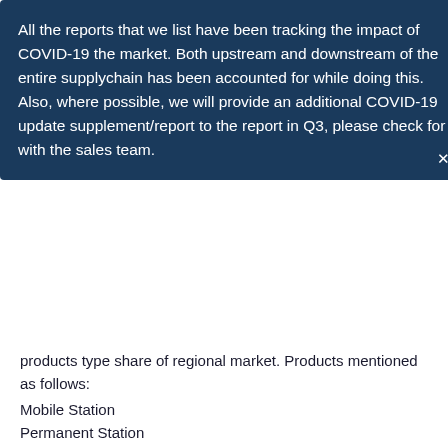All the reports that we list have been tracking the impact of COVID-19 the market. Both upstream and downstream of the entire supplychain has been accounted for while doing this. Also, where possible, we will provide an additional COVID-19 update supplement/report to the report in Q3, please check for with the sales team.
products type share of regional market. Products mentioned as follows:
Mobile Station
Permanent Station
Leading vendors in the market are included based on profile, business performance etc. Vendors mentioned as follows:
Kunlun Energy
CNOOC
ENN Energy Holding
Guanghui
Sinopec
Cryostar
Engie
FortisBC